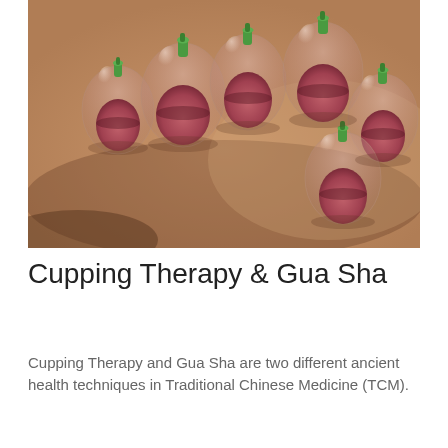[Figure (photo): A photograph showing multiple clear plastic cupping therapy cups with green valve tops placed on a person's back/shoulder area. The cups create suction lifting the skin, showing reddish-pink tissue inside each cup. The person's skin appears warm/tan in tone.]
Cupping Therapy & Gua Sha
Cupping Therapy and Gua Sha are two different ancient health techniques in Traditional Chinese Medicine (TCM).